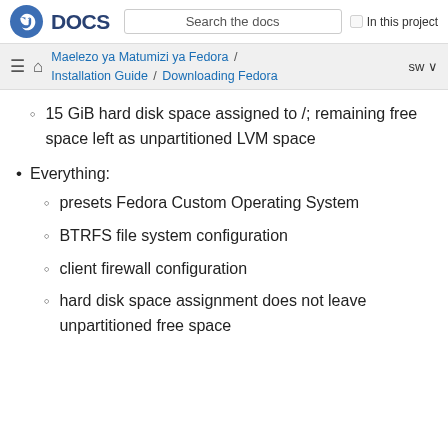DOCS | Search the docs | In this project
Maelezo ya Matumizi ya Fedora / Installation Guide / Downloading Fedora | sw
15 GiB hard disk space assigned to /; remaining free space left as unpartitioned LVM space
Everything:
presets Fedora Custom Operating System
BTRFS file system configuration
client firewall configuration
hard disk space assignment does not leave unpartitioned free space